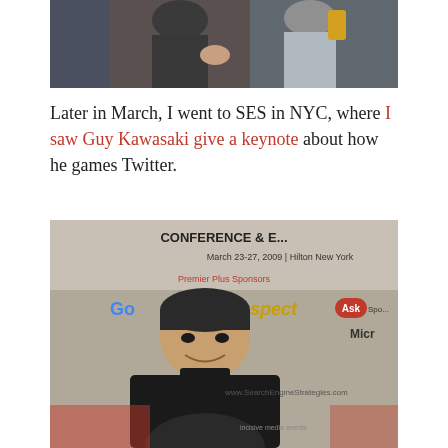[Figure (photo): Photo of people at a conference or gathering, partially cropped showing two men, one in a dark jacket.]
Later in March, I went to SES in NYC, where I saw Guy Kawasaki give a keynote about how he games Twitter.
[Figure (photo): Photo of Guy Kawasaki at the SES Conference & Expo, March 23-27, 2009, Hilton New York. Backdrop shows logos including Google, Prospect, Ask, Microsoft, and www.SearchEngineStrategies.com and Incisive Media events.]